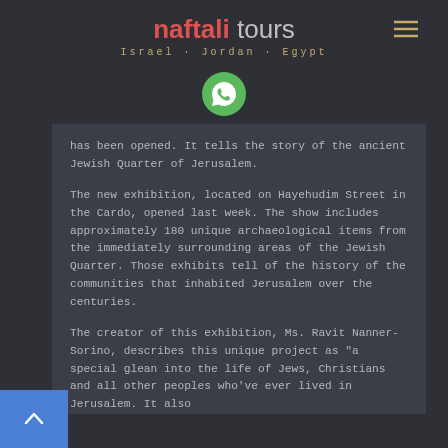naftali tours — Israel · Jordan · Egypt
[Figure (logo): WhatsApp icon — green circle with white phone handset]
has been opened. It tells the story of the ancient Jewish Quarter of Jerusalem.
The new exhibition, located on Hayehudim Street in the Cardo, opened last week. The show includes approximately 180 unique archaeological items from the immediately surrounding areas of the Jewish Quarter. Those exhibits tell of the history of the communities that inhabited Jerusalem over the centuries.
The creator of this exhibition, Ms. Ravit Nanner-Sorino, describes this unique project as "a special glean into the life of Jews, Christians and all other peoples who've ever lived in Jerusalem. It also